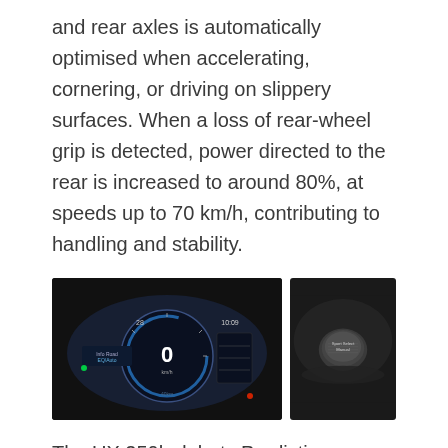and rear axles is automatically optimised when accelerating, cornering, or driving on slippery surfaces. When a loss of rear-wheel grip is detected, power directed to the rear is increased to around 80%, at speeds up to 70 km/h, contributing to handling and stability.
[Figure (photo): Two side-by-side dark interior photos of a Lexus UX: left shows the digital instrument cluster with a circular speedometer displaying 0, right shows a close-up of a drive mode selector knob.]
The UX 250h debuts Predictive Efficient Drive, a Lexus-first system that analyses driving habits and the expected road and traffic conditions to optimise charging/discharging of the hybrid battery. The